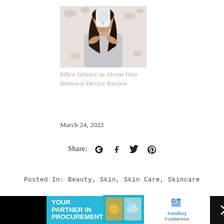[Figure (photo): Woman holding a white at-home hair removal device up toward her face, wearing a grey top, with a floral background.]
Silk'n Infinity at–Home Hair Removal Device Review
March 24, 2022
Share: G+ f t p
Posted In: Beauty, Skin, Skin Care, Skincare
Comments
[Figure (infographic): Advertisement banner: left black section, center cyan with 'YOUR PARTNER IN PROCUREMENT' text and puzzle/food image, right white Foodbuy Foodservice logo, far right dark close button.]